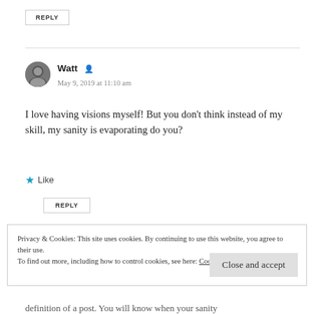REPLY
Watt
May 9, 2019 at 11:10 am
I love having visions myself! But you don't think instead of my skill, my sanity is evaporating do you?
Like
REPLY
Privacy & Cookies: This site uses cookies. By continuing to use this website, you agree to their use. To find out more, including how to control cookies, see here: Cookie Policy
Close and accept
definition of a post. You will know when your sanity